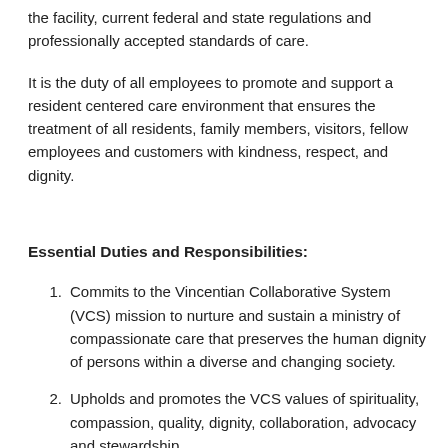the facility, current federal and state regulations and professionally accepted standards of care.
It is the duty of all employees to promote and support a resident centered care environment that ensures the treatment of all residents, family members, visitors, fellow employees and customers with kindness, respect, and dignity.
Essential Duties and Responsibilities:
1. Commits to the Vincentian Collaborative System (VCS) mission to nurture and sustain a ministry of compassionate care that preserves the human dignity of persons within a diverse and changing society.
2. Upholds and promotes the VCS values of spirituality, compassion, quality, dignity, collaboration, advocacy and stewardship.
3. Promotes and supports a resident centered care environment that ensures the treatment of all residents, family members, visitors, fellow employees and customers